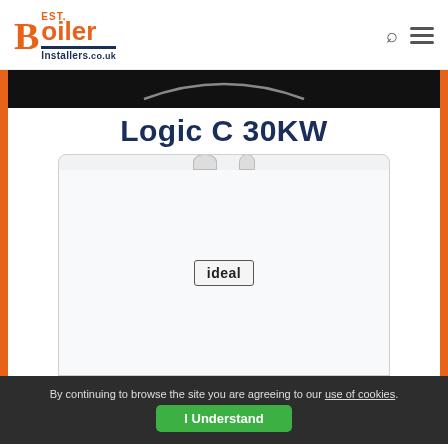Best Boiler Installers .co.uk
Logic C 30KW
[Figure (photo): White Ideal Logic C 30KW boiler unit with 'ideal' badge label, shown against a light grey background, flanked by orange vertical border bars.]
By continuing to browse the site you are agreeing to our use of cookies.
I Understand